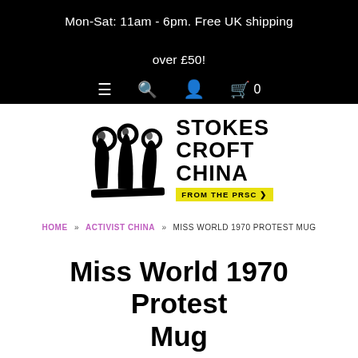Mon-Sat: 11am - 6pm. Free UK shipping over £50!
[Figure (logo): Stokes Croft China from the PRSC logo with hand-drawn crown icon and bold text]
HOME » ACTIVIST CHINA » MISS WORLD 1970 PROTEST MUG
Miss World 1970 Protest Mug